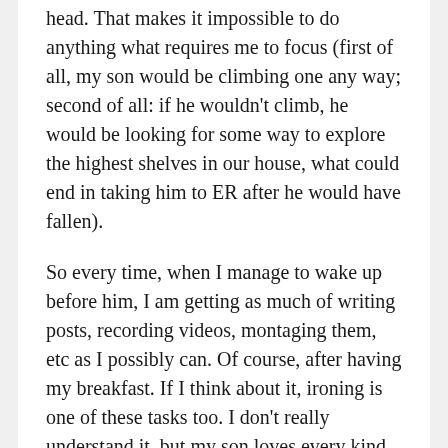head. That makes it impossible to do anything what requires me to focus (first of all, my son would be climbing one any way; second of all: if he wouldn't climb, he would be looking for some way to explore the highest shelves in our house, what could end in taking him to ER after he would have fallen).
So every time, when I manage to wake up before him, I am getting as much of writing posts, recording videos, montaging them, etc as I possibly can. Of course, after having my breakfast. If I think about it, ironing is one of these tasks too. I don't really understand it, but my son loves every kind of strings, wires and other long objects. As I am ironing, he tries to pull the wire and it is quite stressful not to let him get hot iron on his head.
Clean as you go